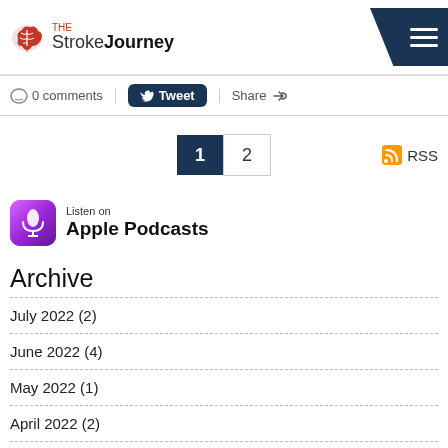The Stroke Journey
0 comments  Tweet  Share
1  2
RSS
[Figure (logo): Listen on Apple Podcasts badge with purple podcast icon]
Archive
July 2022 (2)
June 2022 (4)
May 2022 (1)
April 2022 (2)